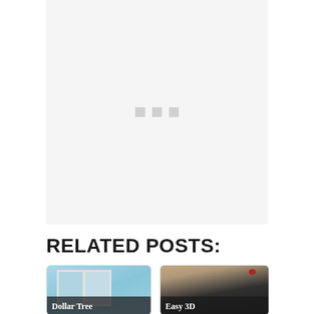[Figure (photo): Large light gray placeholder image area with three small gray squares/dots centered, indicating a loading or placeholder state for an embedded media element.]
RELATED POSTS:
[Figure (photo): Card thumbnail showing two framed blue/teal art prints side by side with caption 'Dollar Tree']
[Figure (photo): Card thumbnail showing a dark surface with a laptop and Christmas holly decoration with caption 'Easy 3D']